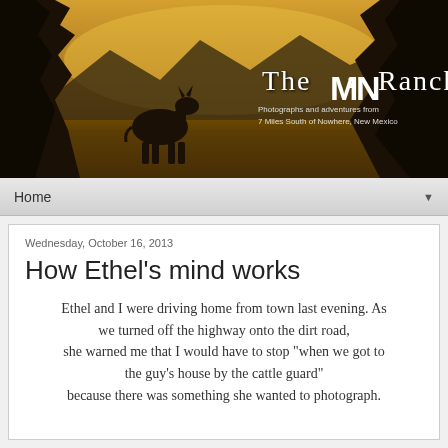[Figure (photo): Sepia-toned banner image showing a donkey silhouette in a field with trees on either side and mountains in the background. Ranch logo overlay reads 'The M7N Ranch' with subtitle 'Photographs and adventures from 7 Miles South of Nowhere, New Mexico']
Home
Wednesday, October 16, 2013
How Ethel's mind works
Ethel and I were driving home from town last evening. As we turned off the highway onto the dirt road, she warned me that I would have to stop "when we got to the guy's house by the cattle guard" because there was something she wanted to photograph.